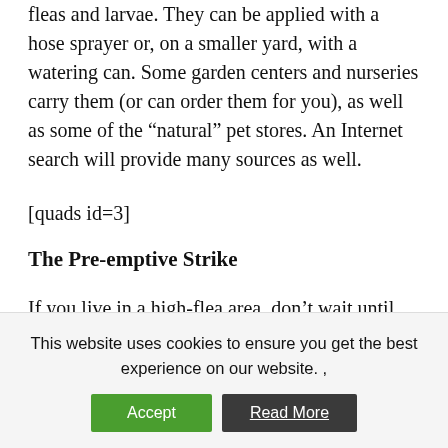fleas and larvae. They can be applied with a hose sprayer or, on a smaller yard, with a watering can. Some garden centers and nurseries carry them (or can order them for you), as well as some of the “natural” pet stores. An Internet search will provide many sources as well.
[quads id=3]
The Pre-emptive Strike
If you live in a high-flea area, don’t wait until you see fleas on your companion to treat your
This website uses cookies to ensure you get the best experience on our website. ,